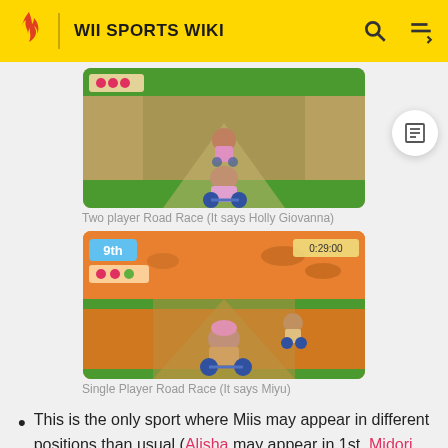WII SPORTS WIKI
[Figure (screenshot): Two player Road Race gameplay screenshot showing Mii characters cycling on a dirt road with green borders, HUD with hearts visible]
Two player Road Race (It says Holly Giovanna)
[Figure (screenshot): Single Player Road Race gameplay screenshot showing position 9th, timer 0:29:00, Mii characters cycling on a road with orange/sunset sky]
Single Player Road Race (It says Miyu)
This is the only sport where Miis may appear in different positions than usual (Alisha may appear in 1st, Midori may appear in 49th or Anna may appear in